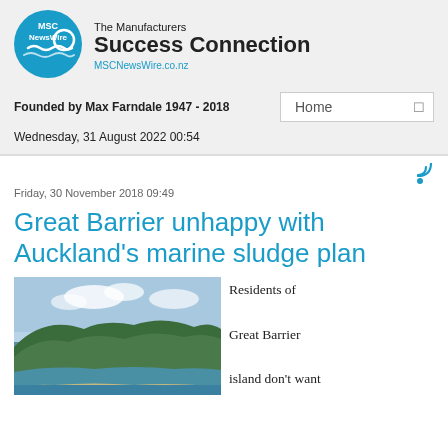[Figure (logo): MSC NewsWire circular logo in blue with white text and wave lines]
The Manufacturers Success Connection
MSCNewsWire.co.nz
Founded by Max Farndale 1947 - 2018
Home
Wednesday, 31 August 2022 00:54
Friday, 30 November 2018 09:49
Great Barrier unhappy with Auckland's marine sludge plan
[Figure (photo): Aerial photo of Great Barrier Island showing green hills, sandy beach and blue ocean]
Residents of Great Barrier island don't want